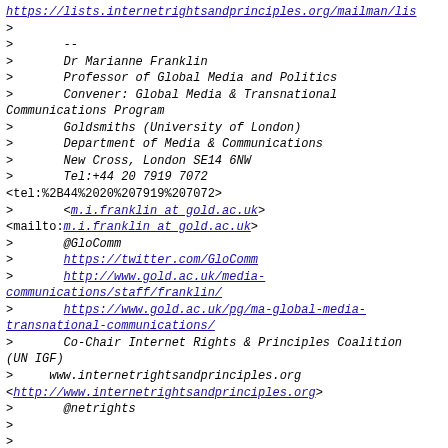https://lists.internetrightsandprinciples.org/mailman/lis
>
>       --
>       Dr Marianne Franklin
>       Professor of Global Media and Politics
>       Convener: Global Media & Transnational Communications Program
>       Goldsmiths (University of London)
>       Department of Media & Communications
>       New Cross, London SE14 6NW
>       Tel:+44 20 7919 7072
<tel:%2B44%2020%207919%207072>
>       <m.i.franklin at gold.ac.uk>
<mailto:m.i.franklin at gold.ac.uk>
>       @GloComm
>       https://twitter.com/GloComm
>       http://www.gold.ac.uk/media-communications/staff/franklin/
>       https://www.gold.ac.uk/pg/ma-global-media-transnational-communications/
>       Co-Chair Internet Rights & Principles Coalition (UN IGF)
>       www.internetrightsandprinciples.org
<http://www.internetrightsandprinciples.org>
>       @netrights
>
>
>
>       IRP mailing list
>       IRP at lists.internetrightsandprinciples.org